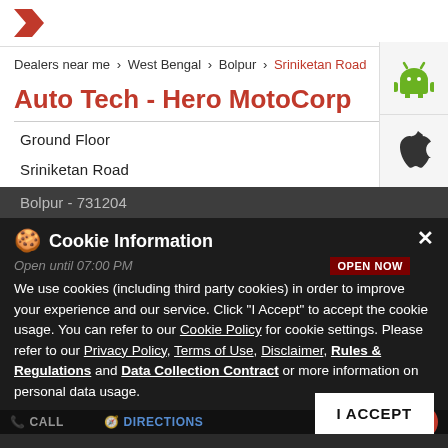[Figure (logo): Hero MotoCorp logo chevron (red)]
Dealers near me > West Bengal > Bolpur > Sriniketan Road
Auto Tech - Hero MotoCorp
Ground Floor
Sriniketan Road
Bolpur - 731204
Cookie Information
Open until 07:00 PM
We use cookies (including third party cookies) in order to improve your experience and our service. Click "I Accept" to accept the cookie usage. You can refer to our Cookie Policy for cookie settings. Please refer to our Privacy Policy, Terms of Use, Disclaimer, Rules & Regulations and Data Collection Contract or more information on personal data usage.
[Figure (screenshot): Bottom photo strip showing motorcycle with text overlay 'SOME RUST']